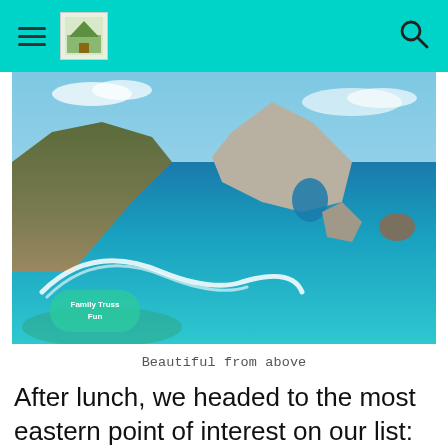≡ [logo] [search]
[Figure (photo): Aerial view of a rocky coastline with a large hill covered in dry vegetation on the left, dramatic limestone rock formations with a natural arch on the right, and vivid turquoise and deep blue ocean water with a white wake pattern in the foreground. A small watermark logo reads 'Family Truss Fun' in the lower left corner.]
Beautiful from above
After lunch, we headed to the most eastern point of interest on our list: Atuh Beach. While there is no entrance fee to this beach, you do have to pay 10,000 rupiahs for parking per car,